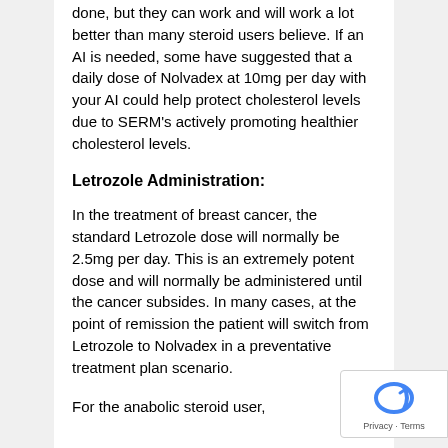done, but they can work and will work a lot better than many steroid users believe. If an AI is needed, some have suggested that a daily dose of Nolvadex at 10mg per day with your AI could help protect cholesterol levels due to SERM's actively promoting healthier cholesterol levels.
Letrozole Administration:
In the treatment of breast cancer, the standard Letrozole dose will normally be 2.5mg per day. This is an extremely potent dose and will normally be administered until the cancer subsides. In many cases, at the point of remission the patient will switch from Letrozole to Nolvadex in a preventative treatment plan scenario.
For the anabolic steroid user,